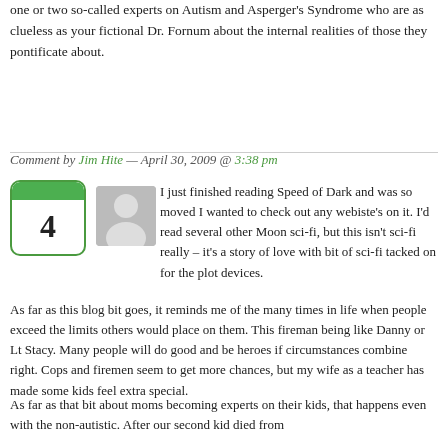one or two so-called experts on Autism and Asperger's Syndrome who are as clueless as your fictional Dr. Fornum about the internal realities of those they pontificate about.
Comment by Jim Hite — April 30, 2009 @ 3:38 pm
[Figure (illustration): Green calendar icon showing the number 4, and a grey user avatar silhouette]
I just finished reading Speed of Dark and was so moved I wanted to check out any webiste's on it. I'd read several other Moon sci-fi, but this isn't sci-fi really – it's a story of love with bit of sci-fi tacked on for the plot devices.
As far as this blog bit goes, it reminds me of the many times in life when people exceed the limits others would place on them. This fireman being like Danny or Lt Stacy. Many people will do good and be heroes if circumstances combine right. Cops and firemen seem to get more chances, but my wife as a teacher has made some kids feel extra special.
As far as that bit about moms becoming experts on their kids, that happens even with the non-autistic. After our second kid died from